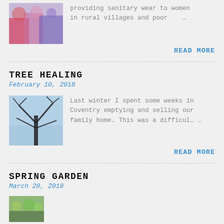[Figure (photo): Photo of women in colorful traditional clothing, rural India]
providing sanitary wear to women in rural villages and poor …
READ MORE
TREE HEALING
February 10, 2018
[Figure (photo): Photo of bare tree branches against a blue sky in winter]
Last winter I spent some weeks in Coventry emptying and selling our family home. This was a difficul… …
READ MORE
SPRING GARDEN
March 20, 2018
[Figure (photo): Photo of a spring garden]